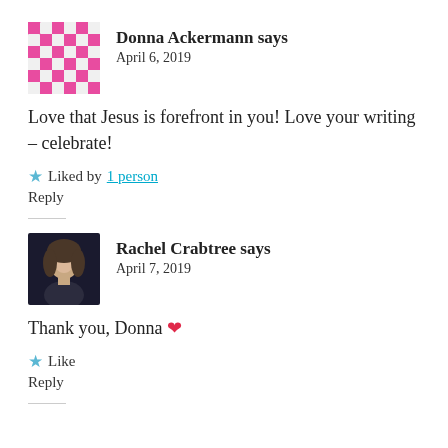Donna Ackermann says
April 6, 2019
Love that Jesus is forefront in you! Love your writing – celebrate!
★ Liked by 1 person
Reply
Rachel Crabtree says
April 7, 2019
Thank you, Donna ❤
★ Like
Reply